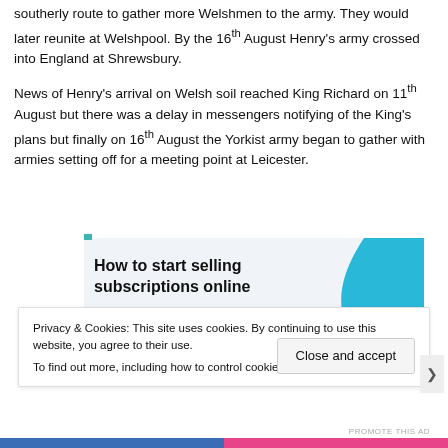southerly route to gather more Welshmen to the army. They would later reunite at Welshpool. By the 16th August Henry's army crossed into England at Shrewsbury.
News of Henry's arrival on Welsh soil reached King Richard on 11th August but there was a delay in messengers notifying of the King's plans but finally on 16th August the Yorkist army began to gather with armies setting off for a meeting point at Leicester.
[Figure (other): Advertisement banner: 'How to start selling subscriptions online' with cyan decorative shape and purple button]
Privacy & Cookies: This site uses cookies. By continuing to use this website, you agree to their use.
To find out more, including how to control cookies, see here: Cookie Policy
Close and accept